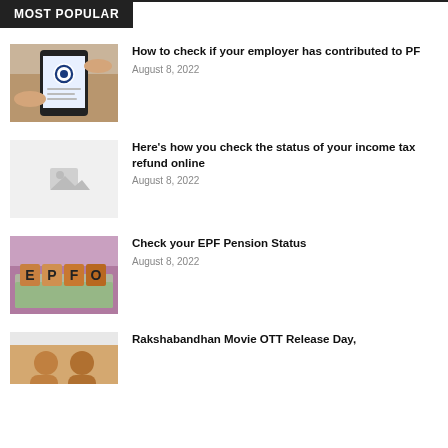MOST POPULAR
[Figure (photo): Hands holding a smartphone showing an EPFO app screen]
How to check if your employer has contributed to PF
August 8, 2022
[Figure (photo): Placeholder image with light gray background]
Here's how you check the status of your income tax refund online
August 8, 2022
[Figure (photo): Wooden letter blocks spelling EPFO on currency notes]
Check your EPF Pension Status
August 8, 2022
[Figure (photo): Two people partially visible, clipping from article thumbnail]
Rakshabandhan Movie OTT Release Day,